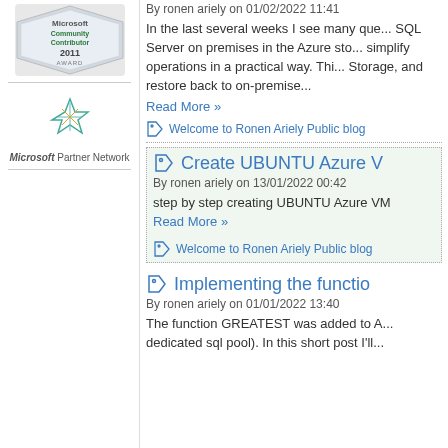[Figure (logo): Microsoft Community Contributor 2011 Award badge]
[Figure (logo): Microsoft Partner Network logo with green star symbol]
By ronen ariely on 01/02/2022 11:41
In the last several weeks I see many que... SQL Server on premises in the Azure sto... simplify operations in a practical way. Thi... Storage, and restore back to on-premise...
Read More »
Welcome to Ronen Ariely Public blog
Create UBUNTU Azure V...
By ronen ariely on 13/01/2022 00:42
step by step creating UBUNTU Azure VM...
Read More »
Welcome to Ronen Ariely Public blog
Implementing the functio...
By ronen ariely on 01/01/2022 13:40
The function GREATEST was added to A... dedicated sql pool). In this short post I'll...